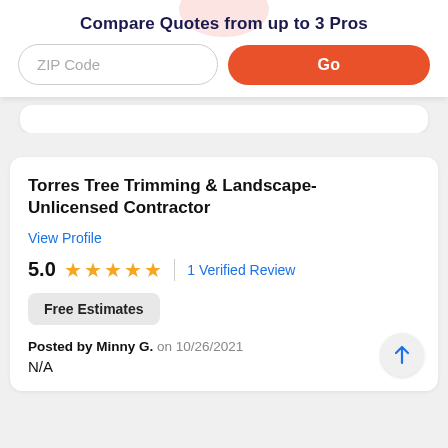Compare Quotes from up to 3 Pros
ZIP Code
Go
Torres Tree Trimming & Landscape-Unlicensed Contractor
View Profile
5.0  ★★★★★  |  1 Verified Review
Free Estimates
Posted by Minny G. on 10/26/2021
N/A